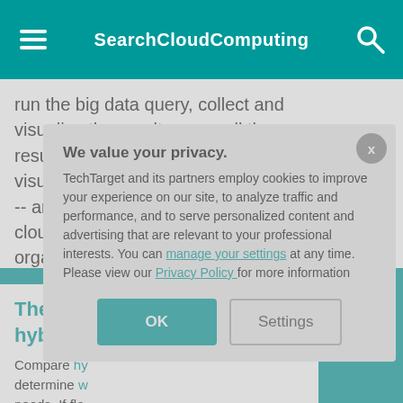SearchCloudComputing
run the big data query, collect and visualize the results -- or pull the results back to a reporting and visualization tool in the private cloud -- and then shut down the public cloud Hadoop cluster. This way, the organization only pays for the resources it actually uses in the publi[c cloud].
The in[side guide to] hybri[d cloud]
Compare hy[brid cloud...] determine w[hich...] needs. If fle[xibility...] hybrid clou[d...] you decide [on...] common de[ployment...] tips.
We value your privacy.
TechTarget and its partners employ cookies to improve your experience on our site, to analyze traffic and performance, and to serve personalized content and advertising that are relevant to your professional interests. You can manage your settings at any time. Please view our Privacy Policy for more information